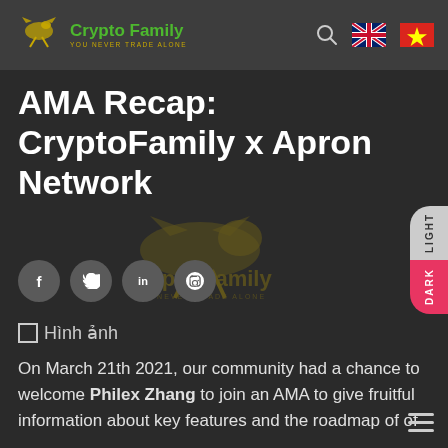Crypto Family – header with logo, search, UK flag, Vietnam flag
AMA Recap: CryptoFamily x Apron Network
[Figure (logo): Crypto Family watermark logo in dark background with social share buttons (f, twitter, in, pinterest)]
Hình ảnh
On March 21th 2021, our community had a chance to welcome Philex Zhang to join an AMA to give fruitful information about key features and the roadmap of of